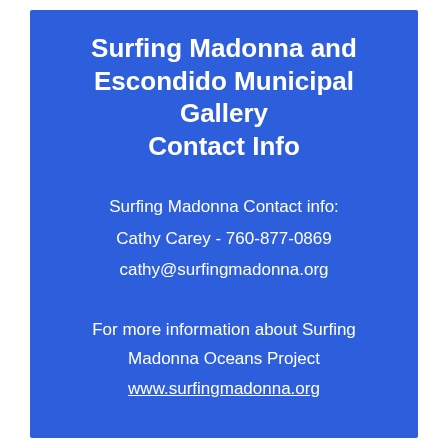Surfing Madonna and Escondido Municipal Gallery Contact Info
Surfing Madonna Contact info:
Cathy Carey - 760-877-0869
cathy@surfingmadonna.org
For more information about Surfing Madonna Oceans Project
www.surfingmadonna.org
Escondido Municipal Gallery info:
760-480-4101